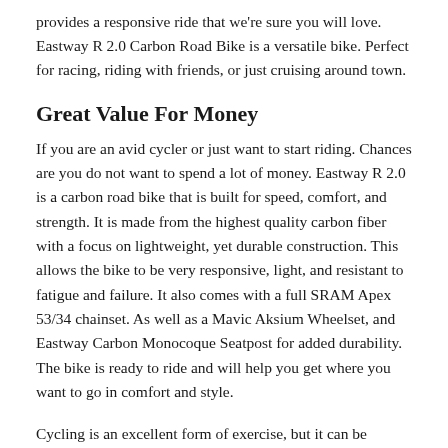provides a responsive ride that we're sure you will love. Eastway R 2.0 Carbon Road Bike is a versatile bike. Perfect for racing, riding with friends, or just cruising around town.
Great Value For Money
If you are an avid cycler or just want to start riding. Chances are you do not want to spend a lot of money. Eastway R 2.0 is a carbon road bike that is built for speed, comfort, and strength. It is made from the highest quality carbon fiber with a focus on lightweight, yet durable construction. This allows the bike to be very responsive, light, and resistant to fatigue and failure. It also comes with a full SRAM Apex 53/34 chainset. As well as a Mavic Aksium Wheelset, and Eastway Carbon Monocoque Seatpost for added durability. The bike is ready to ride and will help you get where you want to go in comfort and style.
Cycling is an excellent form of exercise, but it can be expensive. This is especially true when you are starting out. The problem is...